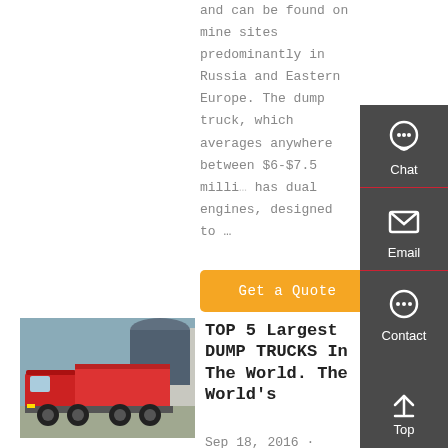and can be found on mine sites predominantly in Russia and Eastern Europe. The dump truck, which averages anywhere between $6-$7.5 milli... has dual engines, designed to …
Get a Quote
[Figure (photo): Red dump truck (Sinotruk HOWO) parked in an industrial area with other trucks and a large cylindrical structure in background.]
TOP 5 Largest DUMP TRUCKS In The World. The World's
Sep 18, 2016 · Here is